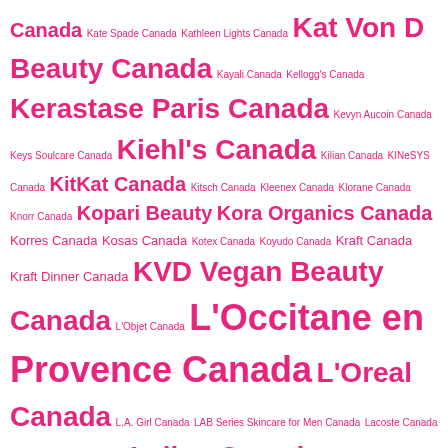Canada Kate Spade Canada Kathleen Lights Canada Kat Von D Beauty Canada Kayali Canada Kellogg's Canada Kerastase Paris Canada Kevyn Aucoin Canada Keys Soulcare Canada Kiehl's Canada Kilian Canada KINeSYS Canada KitKat Canada Kitsch Canada Kleenex Canada Klorane Canada Knorr Canada Kopari Beauty Kora Organics Canada Korres Canada Kosas Canada Kotex Canada Koyudo Canada Kraft Canada Kraft Dinner Canada KVD Vegan Beauty Canada L'Objet Canada L'Occitane en Provence Canada L'Oreal Canada L.A. Girl Canada LAB Series Skincare for Men Canada Lacoste Canada Lady Speed Stick Canada Laline Canada La Mer Canada Lancer Skincare Canada Lancome Canada Laneige Canada Lano Canada La Roche-Posay Canada La Senza Canada Laura Makeup Labs Canada Laura Mercier Canada Laura Geller Canada Layami Canada Lavido Canada Lavigne